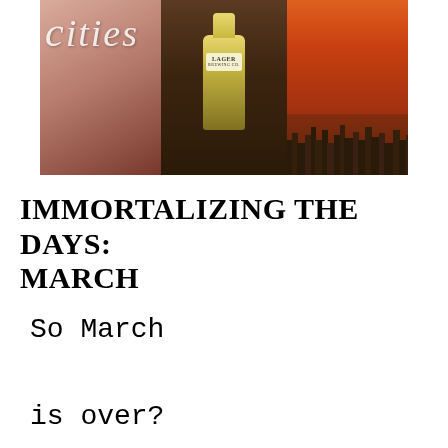[Figure (photo): A collage of three photos: left panel shows a warm-toned photo with reddish-pink hues (appears to be an indoor scene), middle panel shows a beer bottle labeled LAGER on a dark wooden surface, right panel shows a city skyline silhouette against an orange/amber sunset sky. A cursive script overlay reads a word beginning with 'c' (partially visible) across the top in white/green.]
IMMORTALIZING THE DAYS: MARCH
So March

is over?